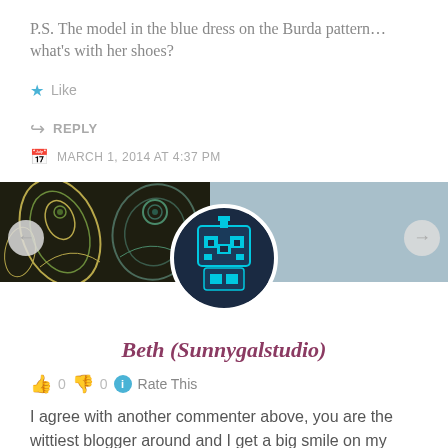P.S. The model in the blue dress on the Burda pattern… what's with her shoes?
★ Like
↪ REPLY
MARCH 1, 2014 AT 4:37 PM
[Figure (photo): Blog comment section banner with paisley pattern image on left and teal background on right, with circular pixel-art avatar centered]
Beth (Sunnygalstudio)
👍 0 👎 0 ℹ Rate This
I agree with another commenter above, you are the wittiest blogger around and I get a big smile on my face when I see a new post from you. Sewing can